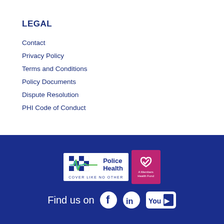LEGAL
Contact
Privacy Policy
Terms and Conditions
Policy Documents
Dispute Resolution
PHI Code of Conduct
[Figure (logo): Police Health logo with checkered pattern and heartbeat line, tagline COVER LIKE NO OTHER, and A Members Health Fund badge]
Find us on [Facebook] [LinkedIn] [YouTube]